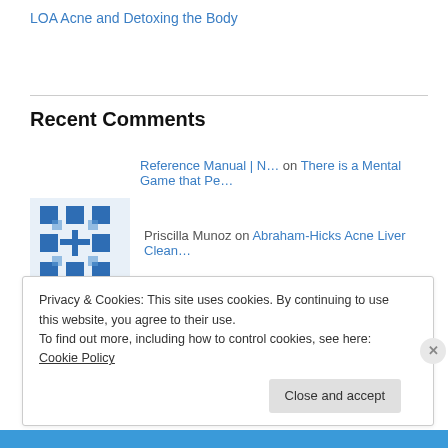LOA Acne and Detoxing the Body
Recent Comments
Reference Manual | N… on There is a Mental Game that Pe…
Priscilla Munoz on Abraham-Hicks Acne Liver Clean…
BestMalorie on Expectation is Everything when…
Independent Cancer R… on There is a Mental Game that
Privacy & Cookies: This site uses cookies. By continuing to use this website, you agree to their use. To find out more, including how to control cookies, see here: Cookie Policy
Close and accept